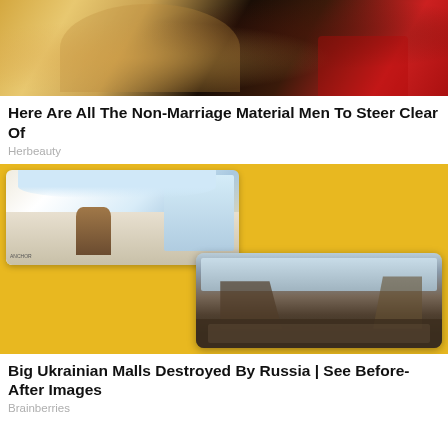[Figure (photo): Person sitting in or near a car, wearing tan/beige clothing, with a red car visible]
Here Are All The Non-Marriage Material Men To Steer Clear Of
Herbeauty
[Figure (photo): Composite image on yellow background: top-left shows interior of a shopping mall with palm trees and colorful decorations; bottom-right shows a destroyed/bombed building with rubble and damaged structure]
Big Ukrainian Malls Destroyed By Russia | See Before-After Images
Brainberries